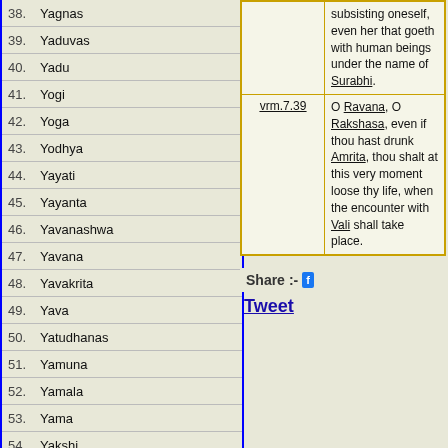38. Yagnas
39. Yaduvas
40. Yadu
41. Yogi
42. Yoga
43. Yodhya
44. Yayati
45. Yayanta
46. Yavanashwa
47. Yavana
48. Yavakrita
49. Yava
50. Yatudhanas
51. Yamuna
52. Yamala
53. Yama
54. Yakshi
55. Yakshas
56. Yuvanasva
57. Yupaksha
58. Yungandhara
| Reference | Text |
| --- | --- |
|  | subsisting oneself, even her that goeth with human beings under the name of Surabhi. |
| vrm.7.39 | O Ravana, O Rakshasa, even if thou hast drunk Amrita, thou shalt at this very moment loose thy life, when the encounter with Vali shall take place. |
Share:- f
Tweet